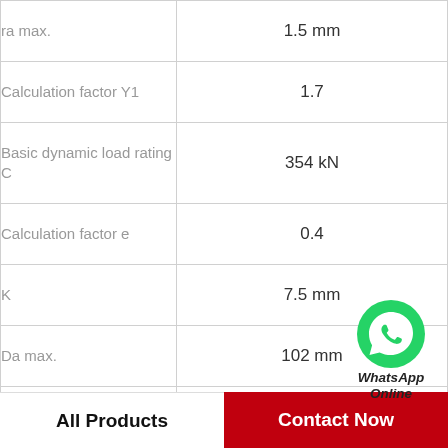| Parameter | Value |
| --- | --- |
| ra max. | 1.5 mm |
| Calculation factor Y1 | 1.7 |
| Basic dynamic load rating C | 354 kN |
| Calculation factor e | 0.4 |
| K | 7.5 mm |
| Da max. | 102 mm |
| d | 60 mm |
| T | 76 mm |
[Figure (logo): WhatsApp Online badge with green WhatsApp icon and italic bold text 'WhatsApp Online']
All Products
Contact Now